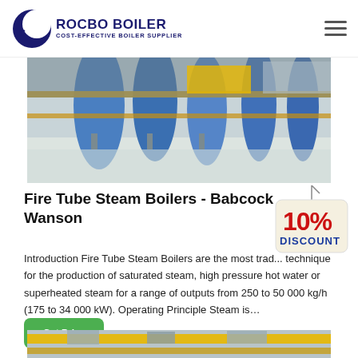ROCBO BOILER — COST-EFFECTIVE BOILER SUPPLIER
[Figure (photo): Industrial boiler room with large blue cylindrical pipes and yellow piping on a polished floor]
Fire Tube Steam Boilers - Babcock Wanson
[Figure (illustration): 10% DISCOUNT badge — red and blue text on cream tag shape with string]
Introduction Fire Tube Steam Boilers are the most trad... technique for the production of saturated steam, high pressure hot water or superheated steam for a range of outputs from 250 to 50 000 kg/h (175 to 34 000 kW). Operating Principle Steam is…
Get Price
[Figure (photo): Yellow industrial pipes and metallic ductwork on ceiling of a facility]